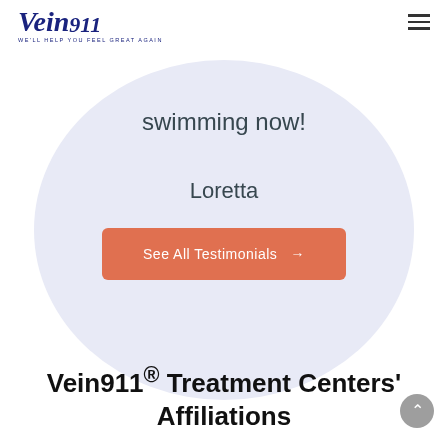Vein911 - We'll Help You Feel Great Again
swimming now!
Loretta
See All Testimonials →
Vein911® Treatment Centers' Affiliations